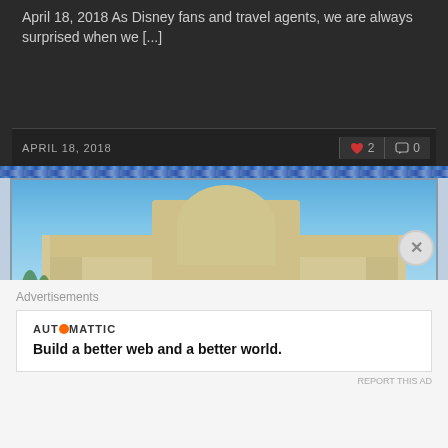April 18, 2018 As Disney fans and travel agents, we are always surprised when we [...]
APRIL 18, 2018  ♥ 2  💬 0
[Figure (photo): Vintage red 1957 Chevrolet classic car parked in front of an Art Deco style building with large ornamental gateway arches, blue sky in background, another red classic car visible on the right]
Advertisements
[Figure (infographic): Automattic advertisement: Build a better web and a better world.]